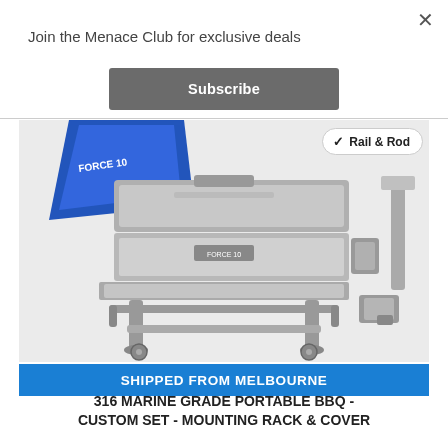Join the Menace Club for exclusive deals
Subscribe
[Figure (photo): Marine grade portable BBQ stainless steel grill with mounting rack, rod holder mount hardware, and blue protective cover. Shows the full custom set including Rail & Rod mounting bracket. 'Rail & Rod' badge with checkmark visible in top-right of image.]
SHIPPED FROM MELBOURNE
316 MARINE GRADE PORTABLE BBQ - CUSTOM SET - MOUNTING RACK & COVER